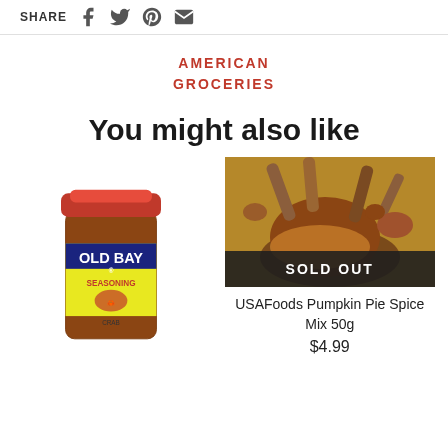SHARE
AMERICAN GROCERIES
You might also like
[Figure (photo): Old Bay Seasoning jar with red lid and yellow label]
[Figure (photo): Spices including cinnamon sticks and ground spice powder on wooden surface, with SOLD OUT overlay badge]
USAFoods Pumpkin Pie Spice Mix 50g
$4.99